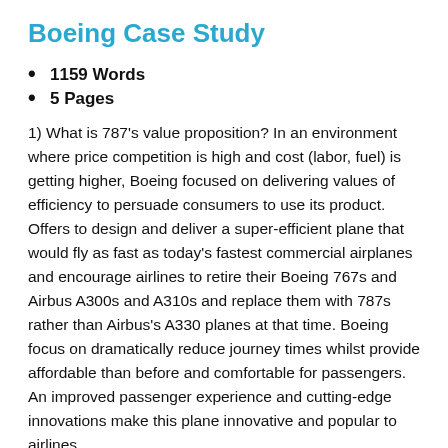Boeing Case Study
1159 Words
5 Pages
1) What is 787’s value proposition? In an environment where price competition is high and cost (labor, fuel) is getting higher, Boeing focused on delivering values of efficiency to persuade consumers to use its product. Offers to design and deliver a super-efficient plane that would fly as fast as today’s fastest commercial airplanes and encourage airlines to retire their Boeing 767s and Airbus A300s and A310s and replace them with 787s rather than Airbus’s A330 planes at that time. Boeing focus on dramatically reduce journey times whilst provide affordable than before and comfortable for passengers. An improved passenger experience and cutting-edge innovations make this plane innovative and popular to airlines